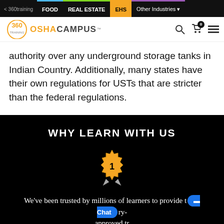< 360training | FOOD | REAL ESTATE | EHS | Other Industries
[Figure (logo): 360 Training OSHA Campus logo with circular 360 emblem and orange OSHACAMPUS wordmark]
authority over any underground storage tanks in Indian Country. Additionally, many states have their own regulations for USTs that are stricter than the federal regulations.
WHY LEARN WITH US
[Figure (illustration): Gold/yellow badge with number 1 and a ribbon/award icon below it]
We've been trusted by millions of learners to provide th...ry-approved tr...